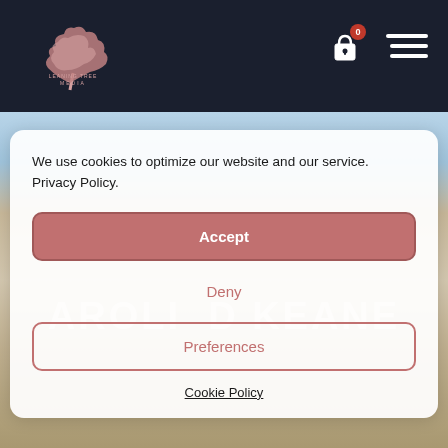[Figure (logo): Leaning Tree Media logo — pink/rose tree illustration with text 'LEANING TREE MEDIA' below]
We use cookies to optimize our website and our service. Privacy Policy.
Accept
Deny
Preferences
Cookie Policy